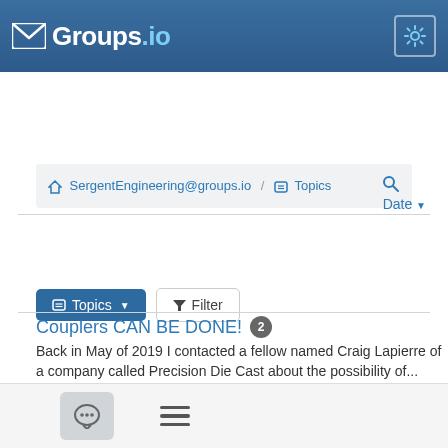Groups.io
SergentEngineering@groups.io / Topics
Topics  Filter
Date
Self centering in an Accurate box  5
I devised a technique for self centering the ENC87 in a scale width Accurate box. See the details at...
By George Hofmann · 2/01/21
Couplers CAN BE DONE!  2
Back in May of 2019 I contacted a fellow named Craig Lapierre of a company called Precision Die Cast about the possibility of...
By John Degnan · 1/23/21